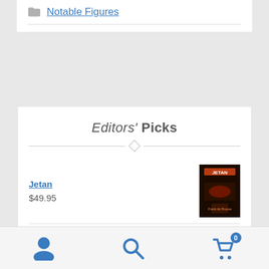Notable Figures
Editors' Picks
Jetan
$49.95
So You've Landed in a Fantasy World
$29.95